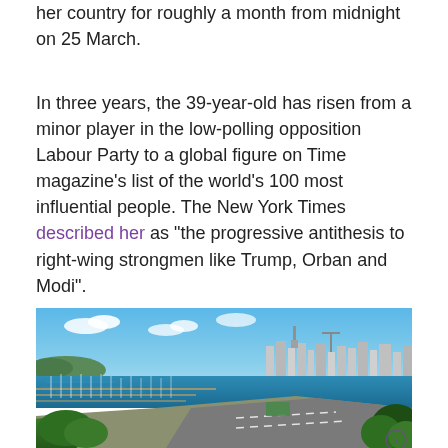her country for roughly a month from midnight on 25 March.
In three years, the 39-year-old has risen from a minor player in the low-polling opposition Labour Party to a global figure on Time magazine's list of the world's 100 most influential people. The New York Times described her as “the progressive antithesis to right-wing strongmen like Trump, Orban and Modi”.
[Figure (photo): Aerial photograph of Auckland, New Zealand, showing a marina full of boats in the foreground with a highway and city skyline in the background under a blue sky.]